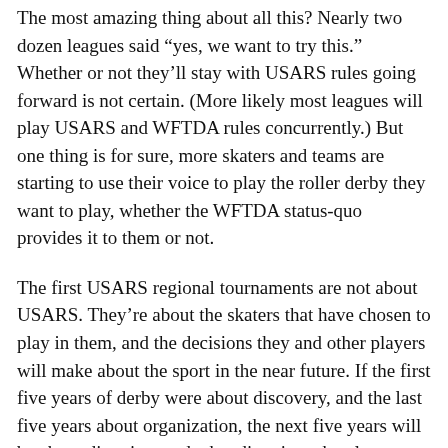The most amazing thing about all this? Nearly two dozen leagues said “yes, we want to try this.” Whether or not they’ll stay with USARS rules going forward is not certain. (More likely most leagues will play USARS and WFTDA rules concurrently.) But one thing is for sure, more skaters and teams are starting to use their voice to play the roller derby they want to play, whether the WFTDA status-quo provides it to them or not.
The first USARS regional tournaments are not about USARS. They’re about the skaters that have chosen to play in them, and the decisions they and other players will make about the sport in the near future. If the first five years of derby were about discovery, and the last five years about organization, the next five years will be about direction, and what directions the players want to take the sport in.
To be frank, it’s both exciting and kind of scary to think about. But of course it would be.